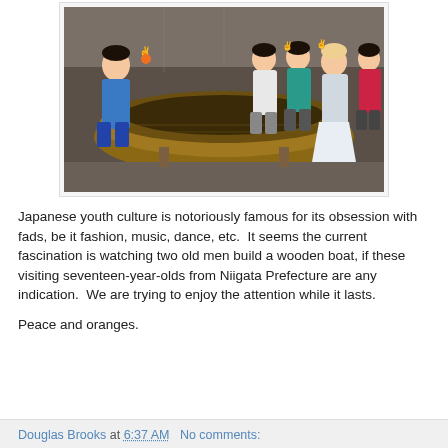[Figure (photo): Group of young Japanese women posing around a large wooden boat hull under construction in a workshop. Six young women smiling and making peace signs.]
Japanese youth culture is notoriously famous for its obsession with fads, be it fashion, music, dance, etc.  It seems the current fascination is watching two old men build a wooden boat, if these visiting seventeen-year-olds from Niigata Prefecture are any indication.  We are trying to enjoy the attention while it lasts.
Peace and oranges.
Douglas Brooks at 6:37 AM   No comments: